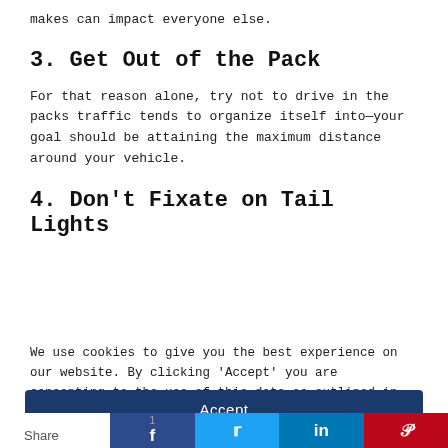makes can impact everyone else.
3. Get Out of the Pack
For that reason alone, try not to drive in the packs traffic tends to organize itself into—your goal should be attaining the maximum distance around your vehicle.
4. Don’t Fixate on Tail Lights
We use cookies to give you the best experience on our website. By clicking ‘Accept’ you are consenting to the use of this data as outlined in our Privacy and Cookie Policy.
Accept
Share
1
f
t
in
p